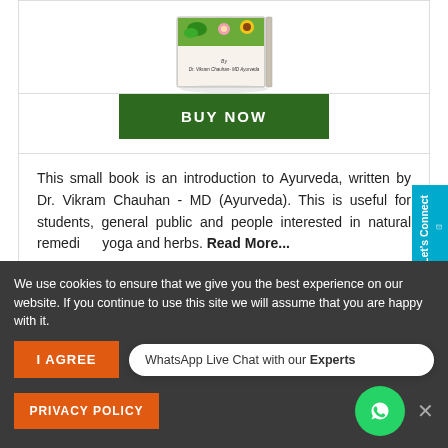[Figure (illustration): Book cover of an Ayurveda book by Dr. Vikram Chauhan - MD Ayurveda, with images of plants, sunflowers, and natural ingredients on the cover]
BUY NOW
This small book is an introduction to Ayurveda, written by Dr. Vikram Chauhan - MD (Ayurveda). This is useful for students, general public and people interested in natural remedies, yoga and herbs. Read More...
Ask Our Experts
We use cookies to ensure that we give you the best experience on our website. If you continue to use this site we will assume that you are happy with it.
I AGREE
PRIVACY POLICY
WhatsApp Live Chat with our Experts
Let's Connect